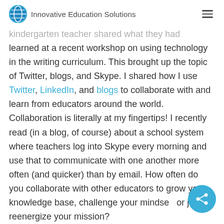Innovative Education Solutions
kindergarten teacher shared what they had learned at a recent workshop on using technology in the writing curriculum. This brought up the topic of Twitter, blogs, and Skype. I shared how I use Twitter, LinkedIn, and blogs to collaborate with and learn from educators around the world. Collaboration is literally at my fingertips! I recently read (in a blog, of course) about a school system where teachers log into Skype every morning and use that to communicate with one another more often (and quicker) than by email. How often do you collaborate with other educators to grow your knowledge base, challenge your mindset, or just reenergize your mission?